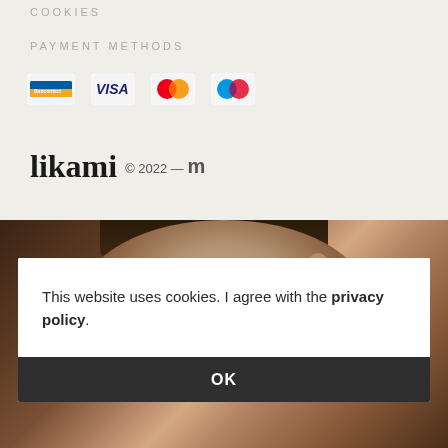COOKIES
PAYMENT METHODS
[Figure (logo): Payment method logos: Bancontact, VISA, Mastercard, Maestro]
likami © 2022 — m
[Figure (photo): Close-up photo of a woman lying down with eyes slightly open, warm brown tones]
This website uses cookies. I agree with the privacy policy.
OK